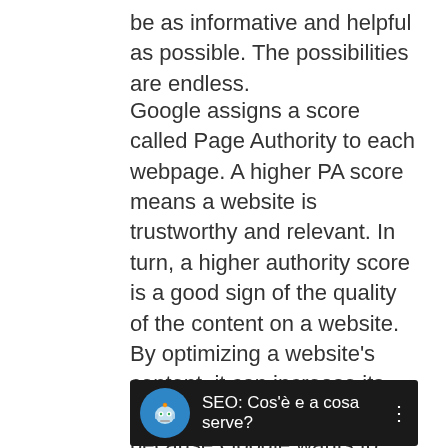be as informative and helpful as possible. The possibilities are endless.
Google assigns a score called Page Authority to each webpage. A higher PA score means a website is trustworthy and relevant. In turn, a higher authority score is a good sign of the quality of the content on a website. By optimizing a website's content, it can increase its authority score. This is because Google wants to show the most authoritative websites in search results. A higher authority score means a site is more credible, so the higher it has a high PageRank.
[Figure (screenshot): A video thumbnail with dark background showing a robot/AI logo icon in a blue circle and the title 'SEO: Cos'è e a cosa serve?' with a three-dot menu icon on the right.]